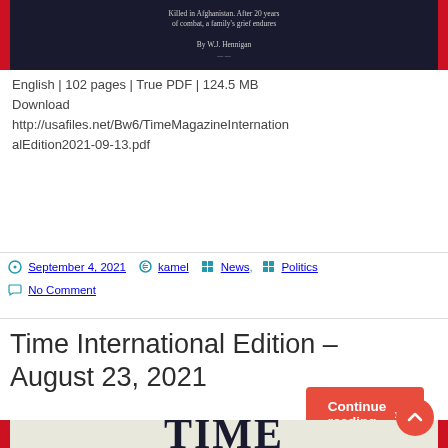[Figure (photo): Dark background magazine cover image with small descriptive text and author name 'By W.J. Hennigan']
English | 102 pages | True PDF | 124.5 MB
Download
http://usafiles.net/Bw6/TimeMagazineInternationalEdition2021-09-13.pdf
Continue reading »
September 4, 2021  kamel  News,  Politics
No Comment
Time International Edition – August 23, 2021
[Figure (photo): TIME magazine cover showing the TIME logo in large bold serif letters with a globe/world illustration below, red bars on left and right sides]